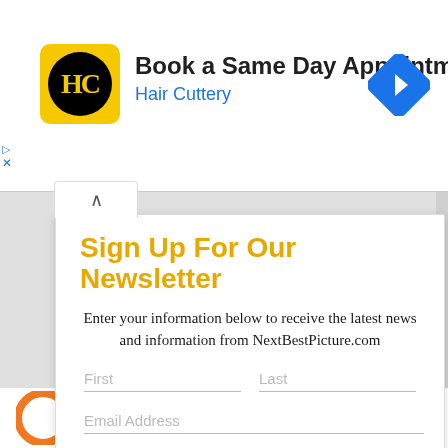[Figure (screenshot): Advertisement banner for Hair Cuttery: 'Book a Same Day Appointment' with HC logo in yellow rounded square and blue navigation arrow icon]
Sign Up For Our Newsletter
Enter your information below to receive the latest news and information from NextBestPicture.com
First
Last
Email Address
Subscribe
[Figure (logo): SUPPORT US banner with orange circular logo at bottom]